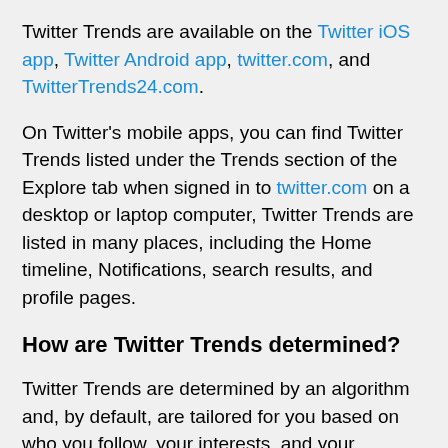Twitter Trends are available on the Twitter iOS app, Twitter Android app, twitter.com, and TwitterTrends24.com.
On Twitter's mobile apps, you can find Twitter Trends listed under the Trends section of the Explore tab when signed in to twitter.com on a desktop or laptop computer, Twitter Trends are listed in many places, including the Home timeline, Notifications, search results, and profile pages.
How are Twitter Trends determined?
Twitter Trends are determined by an algorithm and, by default, are tailored for you based on who you follow, your interests, and your location. This algorithm identifies topics that are popular now, rather than topics that have been popular for a while or on a daily basis, to help you discover the hottest emerging topics of discussion on Twitter.
You can choose to see Twitter Trends that are not tailored for you by selecting a specific Trend location.